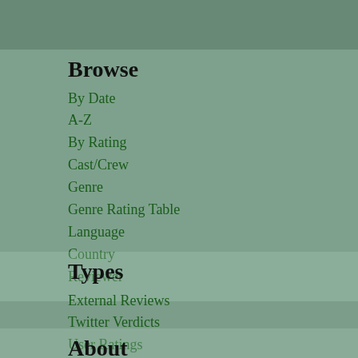Browse
By Date
A-Z
By Rating
Cast/Crew
Genre
Genre Rating Table
Language
Country
Reviewer
Types
External Reviews
Twitter Verdicts
User Ratings
Audio Reviews
DVD Reviews
About
About Wasma